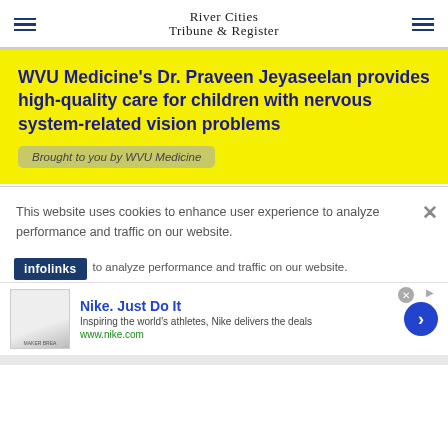River Cities Tribune & Register
WVU Medicine’s Dr. Praveen Jeyaseelan provides high-quality care for children with nervous system-related vision problems
Brought to you by WVU Medicine
This website uses cookies to enhance user experience to analyze performance and traffic on our website.
infolinks to analyze performance and traffic on our website.
[Figure (screenshot): Nike advertisement banner: Nike. Just Do It - Inspiring the world's athletes, Nike delivers the deals - www.nike.com]